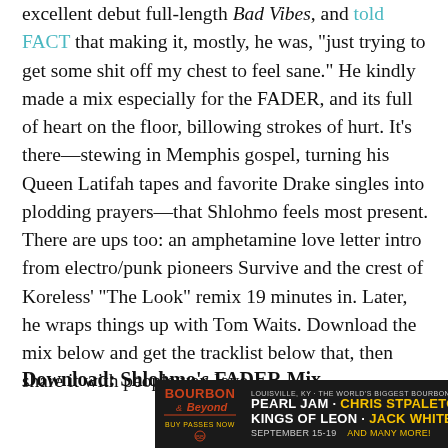excellent debut full-length Bad Vibes, and told FACT that making it, mostly, he was, "just trying to get some shit off my chest to feel sane." He kindly made a mix especially for the FADER, and its full of heart on the floor, billowing strokes of hurt. It's there—stewing in Memphis gospel, turning his Queen Latifah tapes and favorite Drake singles into plodding prayers—that Shlohmo feels most present. There are ups too: an amphetamine love letter intro from electro/punk pioneers Survive and the crest of Koreless' "The Look" remix 19 minutes in. Later, he wraps things up with Tom Waits. Download the mix below and get the tracklist below that, then share it with people you love.
Download: Shlohmo's FADER Mix
Couldn't load plugin
[Figure (infographic): Bourbon & Beyond festival advertisement banner. Shows Bourbon Beyond logo on left, text: LOUISVILLE, KY · THE WORLD'S BIGGEST BOURBON & MUSIC FESTIVAL. PEARL JAM · CHRIS STPALETON. KINGS OF LEON · JACK WHITE. SEPTEMBER 15-19. AND MANY MORE! BUY PASSES NOW.]